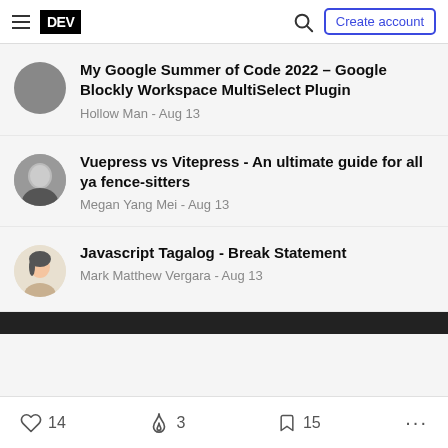DEV | Create account
My Google Summer of Code 2022 – Google Blockly Workspace MultiSelect Plugin
Hollow Man - Aug 13
Vuepress vs Vitepress - An ultimate guide for all ya fence-sitters
Megan Yang Mei - Aug 13
Javascript Tagalog - Break Statement
Mark Matthew Vergara - Aug 13
14  3  15  ...